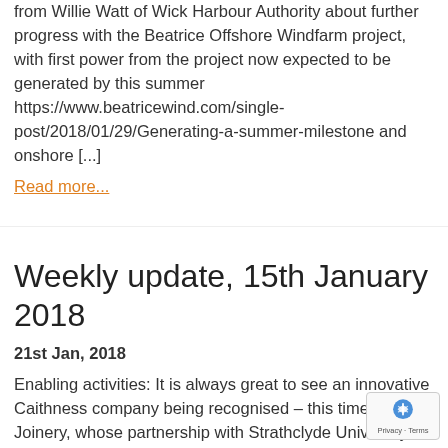from Willie Watt of Wick Harbour Authority about further progress with the Beatrice Offshore Windfarm project, with first power from the project now expected to be generated by this summer https://www.beatricewind.com/single-post/2018/01/29/Generating-a-summer-milestone and onshore [...]
Read more...
Weekly update, 15th January 2018
21st Jan, 2018
Enabling activities: It is always great to see an innovative Caithness company being recognised – this time Norscot Joinery, whose partnership with Strathclyde University through the Innovate programme, is up for Innovation of the Year in